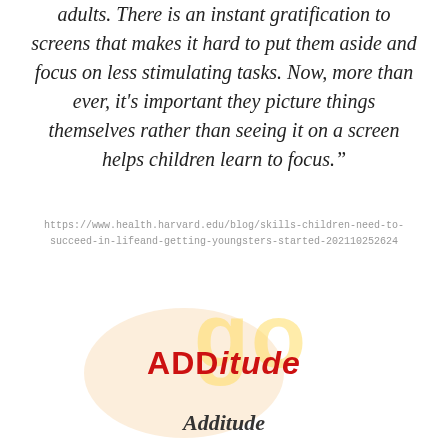adults. There is an instant gratification to screens that makes it hard to put them aside and focus on less stimulating tasks. Now, more than ever, it’s important they picture things themselves rather than seeing it on a screen helps children learn to focus.”
https://www.health.harvard.edu/blog/skills-children-need-to-succeed-in-lifeand-getting-youngsters-started-202110252624
[Figure (logo): ADDitude logo with faint orange watermark background and 'go' text watermark]
Additude